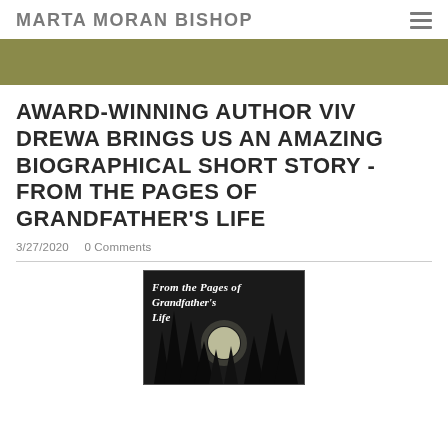MARTA MORAN BISHOP
AWARD-WINNING AUTHOR VIV DREWA BRINGS US AN AMAZING BIOGRAPHICAL SHORT STORY - FROM THE PAGES OF GRANDFATHER'S LIFE
3/27/2020   0 Comments
[Figure (photo): Book cover of 'From the Pages of Grandfather's Life' showing dark forest silhouettes with a glowing moon and white italic title text on a black/dark background]